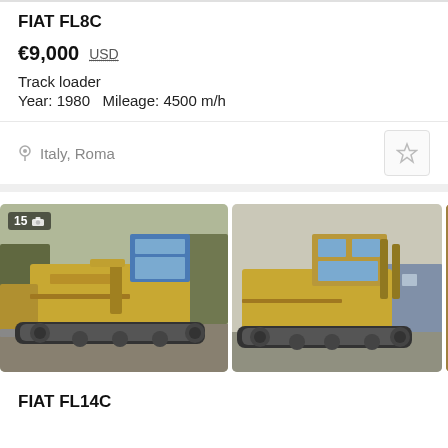FIAT FL8C
€9,000  USD
Track loader
Year: 1980   Mileage: 4500 m/h
Italy, Roma
[Figure (photo): Two photos of a yellow FIAT FL8C track loader (bulldozer) from different angles, shown side by side. Left photo has a badge showing '15' and a camera icon. A third photo is partially visible at the right edge.]
FIAT FL14C